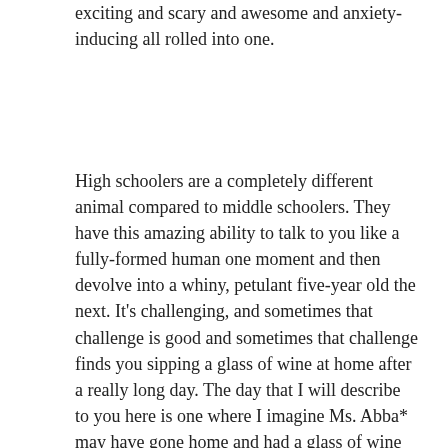exciting and scary and awesome and anxiety-inducing all rolled into one.
High schoolers are a completely different animal compared to middle schoolers. They have this amazing ability to talk to you like a fully-formed human one moment and then devolve into a whiny, petulant five-year old the next. It’s challenging, and sometimes that challenge is good and sometimes that challenge finds you sipping a glass of wine at home after a really long day. The day that I will describe to you here is one where I imagine Ms. Abba* may have gone home and had a glass of wine and binge-watched some episodes of The Office to wind down.